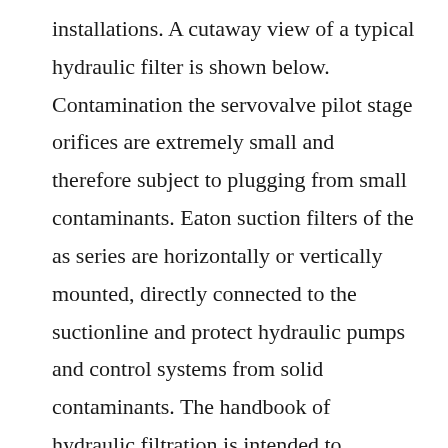installations. A cutaway view of a typical hydraulic filter is shown below. Contamination the servovalve pilot stage orifices are extremely small and therefore subject to plugging from small contaminants. Eaton suction filters of the as series are horizontally or vertically mounted, directly connected to the suctionline and protect hydraulic pumps and control systems from solid contaminants. The handbook of hydraulic filtration is intended to familiarize the user with all aspects of hydraulic and